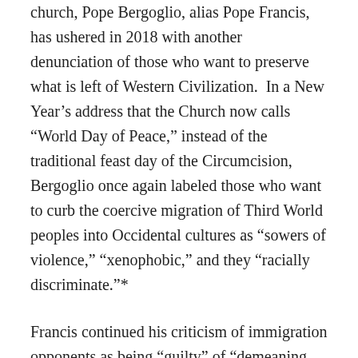church, Pope Bergoglio, alias Pope Francis, has ushered in 2018 with another denunciation of those who want to preserve what is left of Western Civilization.  In a New Year’s address that the Church now calls “World Day of Peace,” instead of the traditional feast day of the Circumcision, Bergoglio once again labeled those who want to curb the coercive migration of Third World peoples into Occidental cultures as “sowers of violence,” “xenophobic,” and they “racially discriminate.”*
Francis continued his criticism of immigration opponents as being “guilty” of “demeaning the human dignity due to all as sons and daughters of God.”
A reality check is in order for Francis: the vast majority